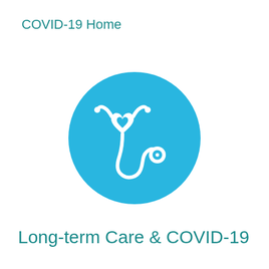COVID-19 Home
[Figure (illustration): A light blue circle containing a white stethoscope icon with a heart shape at the chest piece end]
Long-term Care & COVID-19